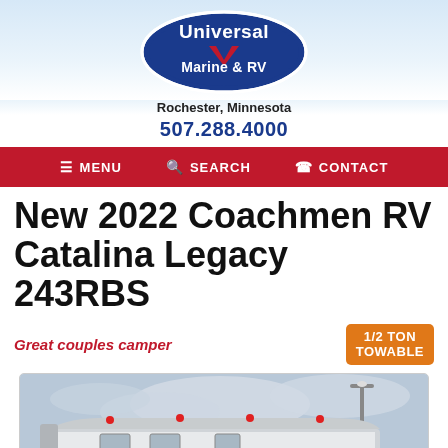[Figure (logo): Universal Marine & RV logo — blue oval with white text and red chevron/checkmark, Rochester, Minnesota]
Rochester, Minnesota
507.288.4000
MENU  SEARCH  CONTACT
New 2022 Coachmen RV Catalina Legacy 243RBS
Great couples camper
[Figure (photo): Photo of a 2022 Coachmen RV Catalina Legacy 243RBS travel trailer exterior, gray and white with blue stripe, parked outdoors under a cloudy sky with a street light in the background]